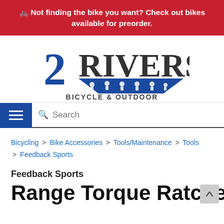🚲 Not finding the bike you want? Check out bikes available for preorder.
[Figure (logo): 2 Rivers Bicycle & Outdoor logo with blue triangle banner and cyclists]
Search
Bicycling > Bike Accessories > Tools/Maintenance > Tools > Feedback Sports
Feedback Sports
Range Torque Ratchet